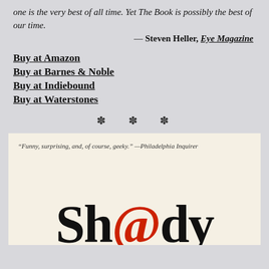one is the very best of all time. Yet The Book is possibly the best of our time.
— Steven Heller, Eye Magazine
Buy at Amazon
Buy at Barnes & Noble
Buy at Indiebound
Buy at Waterstones
* * *
[Figure (illustration): Book cover preview showing tagline 'Funny, surprising, and, of course, geeky.' —Philadelphia Inquirer and large stylized title text 'Sh@dy' with @ symbol in red]
"Funny, surprising, and, of course, geeky." —Philadelphia Inquirer